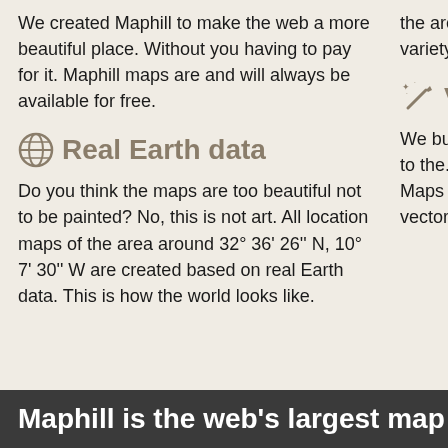We created Maphill to make the web a more beautiful place. Without you having to pay for it. Maphill maps are and will always be available for free.
the area around 3... W in a wide variety... styles.
Real Earth data
Vector qu...
Do you think the maps are too beautiful not to be painted? No, this is not art. All location maps of the area around 32° 36' 26'' N, 10° 7' 30'' W are created based on real Earth data. This is how the world looks like.
We build each loca... with regard to the... map area and the... Maps are assemb... resolution vector ... entire process of t...
Maphill is the web's largest map gallery.